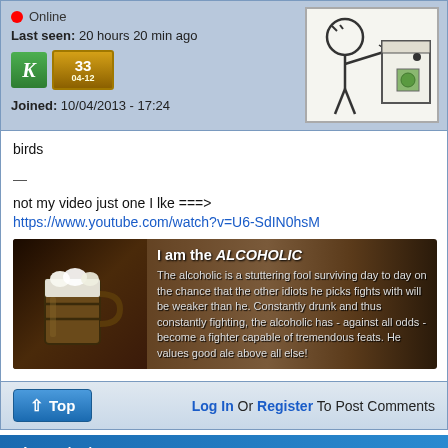Online
Last seen: 20 hours 20 min ago
[Figure (illustration): Stick figure meme illustration showing a character looking at a paper bag]
Joined: 10/04/2013 - 17:24
birds
—
not my video just one I lke ===>
https://www.youtube.com/watch?v=U6-SdIN0hsM
[Figure (illustration): I am the ALCOHOLIC banner image with a wooden mug and text description: The alcoholic is a stuttering fool surviving day to day on the chance that the other idiots he picks fights with will be weaker than he. Constantly drunk and thus constantly fighting, the alcoholic has - against all odds - become a fighter capable of tremendous feats. He values good ale above all else!]
Top
Log In Or Register To Post Comments
Thu, 10/16/2014 - 05:01  #1612
Pengy